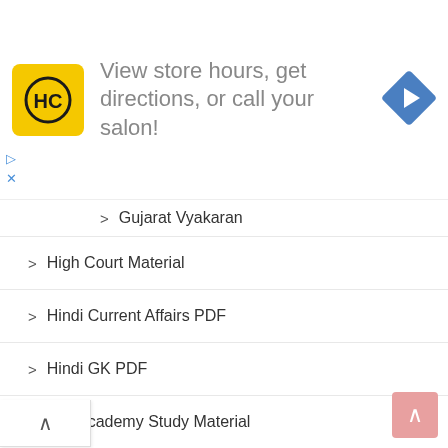[Figure (infographic): Advertisement banner: HC logo (yellow square with HC text), text 'View store hours, get directions, or call your salon!', blue diamond arrow icon on the right]
Gujarat Vyakaran
High Court Material
Hindi Current Affairs PDF
Hindi GK PDF
ICE Academy Study Material
ICE Model Paper
ICE Rajkot Current Affairs
ICE Study Material
IMP Info
IMP Study Material
IMP Yojana
Indian Army Recruitment